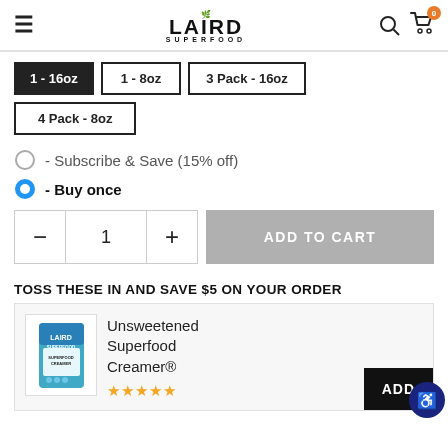Laird Superfood
1 - 16oz (active/selected)
1 - 8oz
3 Pack - 16oz
4 Pack - 8oz
- Subscribe & Save (15% off)
- Buy once (selected)
ADD TO CART
TOSS THESE IN AND SAVE $5 ON YOUR ORDER
Unsweetened Superfood Creamer®
ADD